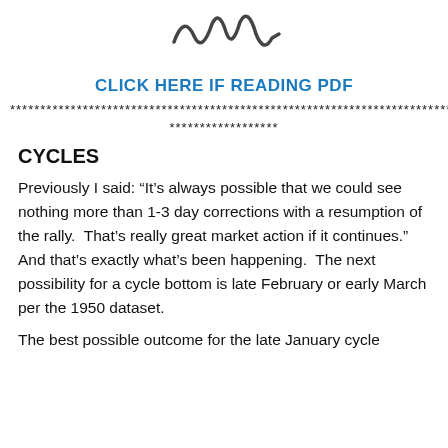[Figure (logo): Stylized hand-drawn squiggly line logo resembling a heartbeat or market chart waveform]
CLICK HERE IF READING PDF
******************************************************************************
******************
CYCLES
Previously I said: “It’s always possible that we could see nothing more than 1-3 day corrections with a resumption of the rally.  That’s really great market action if it continues.”  And that’s exactly what’s been happening.  The next possibility for a cycle bottom is late February or early March per the 1950 dataset.
The best possible outcome for the late January cycle